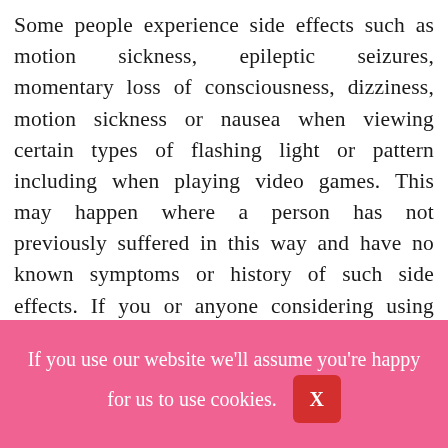Some people experience side effects such as motion sickness, epileptic seizures, momentary loss of consciousness, dizziness, motion sickness or nausea when viewing certain types of flashing light or pattern including when playing video games. This may happen where a person has not previously suffered in this way and have no known symptoms or history of such side effects. If you or anyone considering using the Game
If you use our website we'll assume you're happy for us to use cookies.